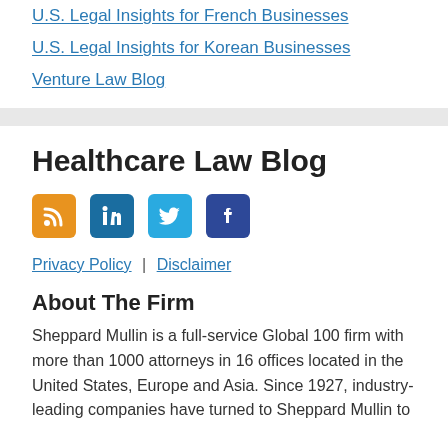U.S. Legal Insights for French Businesses
U.S. Legal Insights for Korean Businesses
Venture Law Blog
Healthcare Law Blog
[Figure (other): Social media icons: RSS (orange), LinkedIn (blue), Twitter (light blue), Facebook (dark blue)]
Privacy Policy | Disclaimer
About The Firm
Sheppard Mullin is a full-service Global 100 firm with more than 1000 attorneys in 16 offices located in the United States, Europe and Asia. Since 1927, industry-leading companies have turned to Sheppard Mullin to